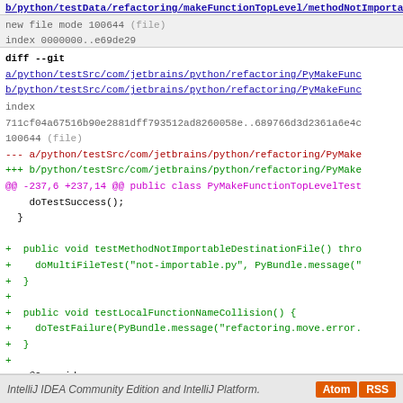b/python/testData/refactoring/makeFunctionTopLevel/methodNotImportable.py
new file mode 100644 (file)
index 0000000..e69de29
diff --git a/python/testSrc/com/jetbrains/python/refactoring/PyMakeFunctionTopLevel... b/python/testSrc/com/jetbrains/python/refactoring/PyMakeFunctionTopLevel...
index 711cf04a67516b90e2881dff793512ad8260058e..689766d3d2361a6e4d... 100644 (file)
--- a/python/testSrc/com/jetbrains/python/refactoring/PyMake...
+++ b/python/testSrc/com/jetbrains/python/refactoring/PyMake...
@@ -237,6 +237,14 @@ public class PyMakeFunctionTopLevelTest...
doTestSuccess();
  }
+ public void testMethodNotImportableDestinationFile() thro...
+   doMultiFileTest("not-importable.py", PyBundle.message('...
+ }
+
+ public void testLocalFunctionNameCollision() {
+   doTestFailure(PyBundle.message("refactoring.move.error..
+ }
+
@Override
  protected String getTestDataPath() {
    return super.getTestDataPath() + "/refactoring/makeFund..."
IntelliJ IDEA Community Edition and IntelliJ Platform.